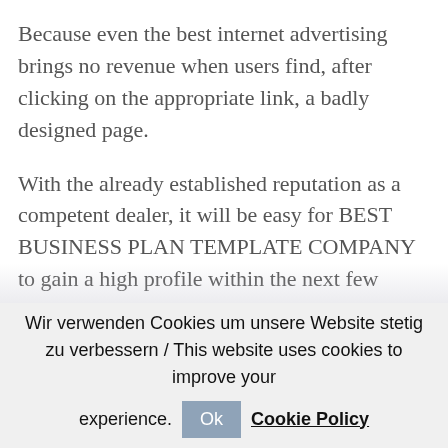Because even the best internet advertising brings no revenue when users find, after clicking on the appropriate link, a badly designed page.
With the already established reputation as a competent dealer, it will be easy for BEST BUSINESS PLAN TEMPLATE COMPANY to gain a high profile within the next few years, which will result in the further
Wir verwenden Cookies um unsere Website stetig zu verbessern / This website uses cookies to improve your experience. Ok Cookie Policy